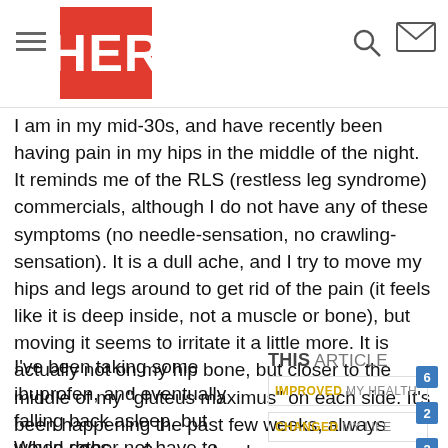HER
I am in my mid-30s, and have recently been having pain in my hips in the middle of the night. It reminds me of the RLS (restless leg syndrome) commercials, although I do not have any of these symptoms (no needle-sensation, no crawling-sensation). It is a dull ache, and I try to move my hips and legs around to get rid of the pain (it feels like it is deep inside, not a muscle or bone), but moving it seems to irritate it a little more. It is actually not on my hip bone, but closer to the middle of my "gluteus maximus" on each side. It's been happening the past few weeks, always around 2am or 3am and wakes me up.
I've been taking some ibuprofen, and eventually falling back asleep, but would rather not have to keep taking medication.
THIS ARTICLE
6 IMPROVED MY HEALTH
2 CHANGED MY LIFE
2 SAVED MY LIFE